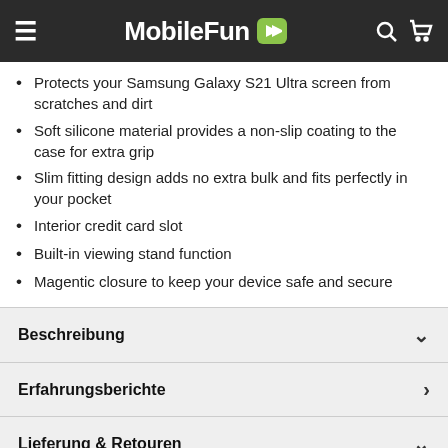MobileFun
Protects your Samsung Galaxy S21 Ultra screen from scratches and dirt
Soft silicone material provides a non-slip coating to the case for extra grip
Slim fitting design adds no extra bulk and fits perfectly in your pocket
Interior credit card slot
Built-in viewing stand function
Magentic closure to keep your device safe and secure
Beschreibung
Erfahrungsberichte
Lieferung & Retouren
Looks like you're in United States...
SHOP THERE
DISMISS